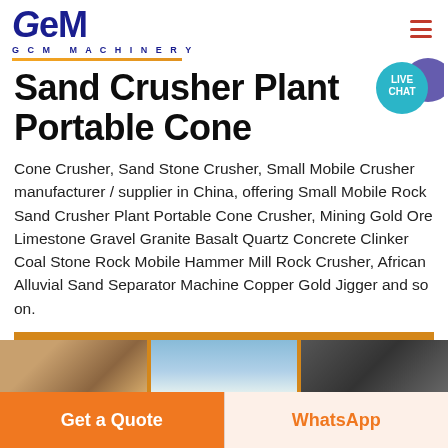[Figure (logo): GCM Machinery logo with dark blue bold stylized text 'GCM' and subtitle 'G C M  MACHINERY' with gold underline]
Sand Crusher Plant Portable Cone
Cone Crusher, Sand Stone Crusher, Small Mobile Crusher manufacturer / supplier in China, offering Small Mobile Rock Sand Crusher Plant Portable Cone Crusher, Mining Gold Ore Limestone Gravel Granite Basalt Quartz Concrete Clinker Coal Stone Rock Mobile Hammer Mill Rock Crusher, African Alluvial Sand Separator Machine Copper Gold Jigger and so on.
Get Price
[Figure (photo): Three product/site photos partially visible at bottom of page]
Get a Quote
WhatsApp